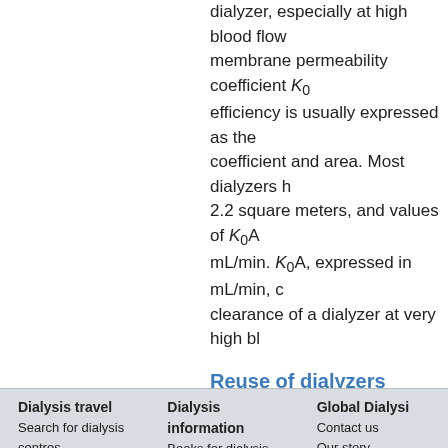dialyzer, especially at high blood flow membrane permeability coefficient K₀ efficiency is usually expressed as the coefficient and area. Most dialyzers h 2.2 square meters, and values of K₀A mL/min. K₀A, expressed in mL/min, c clearance of a dialyzer at very high bl
Reuse of dialyzers
The dialyzer may either be discarded Reuse requires an extensive procedu dialyzers are not shared between pati about whether reusing dialyzers wors consensus today is that reuse of dialy produces similar outcomes to single u
Information reproduced with thanks to
Share |
Dialysis travel
Search for dialysis centres
Using Global Dialysis
Dialysis information
Books for dialysis users
Dialysis events
Global Dialysi
Contact us
Our story